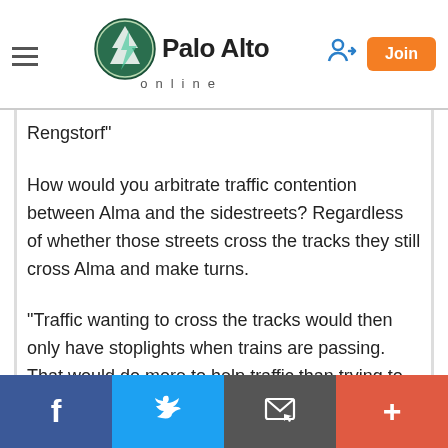Palo Alto online
Rengstorf"
How would you arbitrate traffic contention between Alma and the sidestreets? Regardless of whether those streets cross the tracks they still cross Alma and make turns.
"Traffic wanting to cross the tracks would then only have stoplights when trains are passing. That would do more to help traffic than trying to eliminate grade crossings."
Implicit in your statement is that the existing train-crossing hardware would be left in place. This is not a bad idea given the flaws in the alternative ideas:
Facebook | Twitter | Email | More